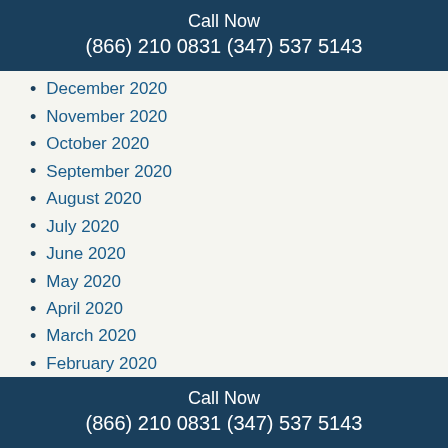Call Now
(866) 210 0831 (347) 537 5143
December 2020
November 2020
October 2020
September 2020
August 2020
July 2020
June 2020
May 2020
April 2020
March 2020
February 2020
January 2020
December 2019
November 2019
October 2019
September 2019
August 2019
Call Now
(866) 210 0831 (347) 537 5143